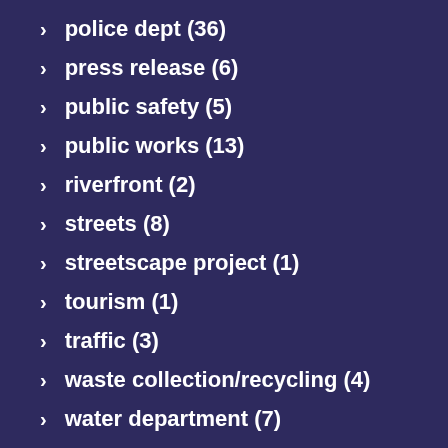police dept (36)
press release (6)
public safety (5)
public works (13)
riverfront (2)
streets (8)
streetscape project (1)
tourism (1)
traffic (3)
waste collection/recycling (4)
water department (7)